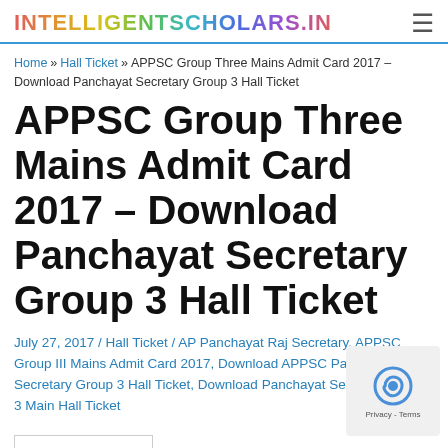INTELLIGENTSCHOLARS.IN
Home » Hall Ticket » APPSC Group Three Mains Admit Card 2017 – Download Panchayat Secretary Group 3 Hall Ticket
APPSC Group Three Mains Admit Card 2017 – Download Panchayat Secretary Group 3 Hall Ticket
July 27, 2017 / Hall Ticket / AP Panchayat Raj Secretary, APPSC Group III Mains Admit Card 2017, Download APPSC Panchayat Secretary Group 3 Hall Ticket, Download Panchayat Secretary Group 3 Main Hall Ticket
Contents [show]